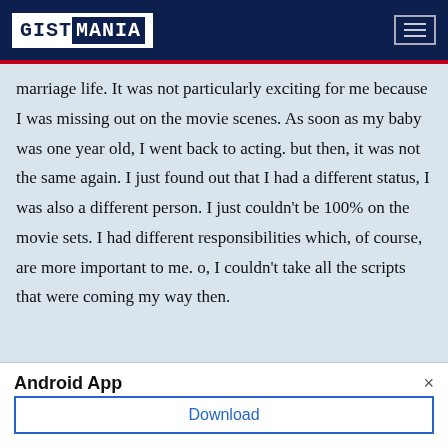GISTMANIA
marriage life. It was not particularly exciting for me because I was missing out on the movie scenes. As soon as my baby was one year old, I went back to acting. but then, it was not the same again. I just found out that I had a different status, I was also a different person. I just couldn't be 100% on the movie sets. I had different responsibilities which, of course, are more important to me. o, I couldn't take all the scripts that were coming my way then.
Android App
Gistmania Official Mobile App
Download